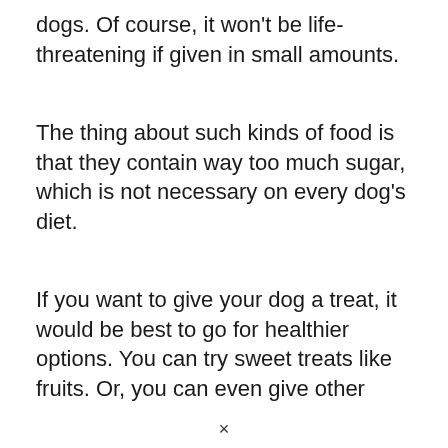dogs. Of course, it won't be life-threatening if given in small amounts.
The thing about such kinds of food is that they contain way too much sugar, which is not necessary on every dog's diet.
If you want to give your dog a treat, it would be best to go for healthier options. You can try sweet treats like fruits. Or, you can even give other
×